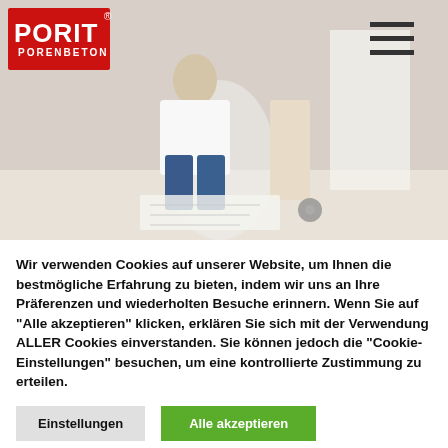[Figure (photo): PORIT Porenbeton website screenshot showing a man crouching and looking at building plans while a woman stands beside him, with the PORIT logo in the top left and a hamburger menu in the top right.]
Wir verwenden Cookies auf unserer Website, um Ihnen die bestmögliche Erfahrung zu bieten, indem wir uns an Ihre Präferenzen und wiederholten Besuche erinnern. Wenn Sie auf "Alle akzeptieren" klicken, erklären Sie sich mit der Verwendung ALLER Cookies einverstanden. Sie können jedoch die "Cookie-Einstellungen" besuchen, um eine kontrollierte Zustimmung zu erteilen.
Einstellungen
Alle akzeptieren